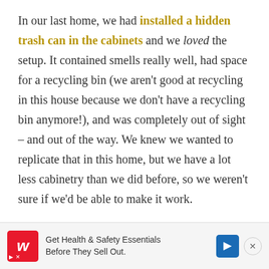In our last home, we had installed a hidden trash can in the cabinets and we loved the setup. It contained smells really well, had space for a recycling bin (we aren't good at recycling in this house because we don't have a recycling bin anymore!), and was completely out of sight – and out of the way. We knew we wanted to replicate that in this home, but we have a lot less cabinetry than we did before, so we weren't sure if we'd be able to make it work.
[Figure (other): Advertisement banner for Walgreens: 'Get Health & Safety Essentials Before They Sell Out.' with Walgreens logo, blue direction arrow icon, and close button.]